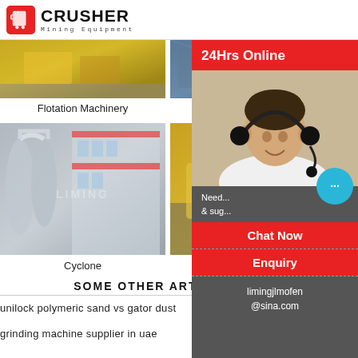[Figure (logo): Crusher Mining Equipment logo with red shopping bag icon and bold CRUSHER text]
[Figure (photo): Flotation Machinery – yellow industrial equipment photo]
Flotation Machinery
[Figure (photo): Spiral chute – industrial plant photo]
Spiral chute
[Figure (photo): Cyclone – large grey industrial machines beside a building with LIMING watermark]
Cyclone
[Figure (photo): Ceramic ball mill on a truck – yellow heavy equipment]
Ceram...
[Figure (photo): 24Hrs Online sidebar with woman wearing headset customer service photo, Chat Now button, Enquiry link, and limingjlmofen@sina.com email]
SOME OTHER ARTICLES
unilock polymeric sand vs gator dust
grinding machine supplier in uae